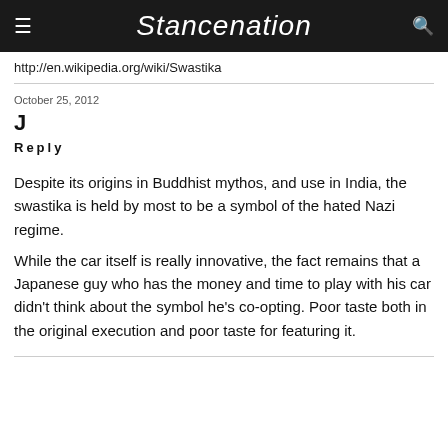Stancenation
http://en.wikipedia.org/wiki/Swastika
October 25, 2012
J
Reply
Despite its origins in Buddhist mythos, and use in India, the swastika is held by most to be a symbol of the hated Nazi regime.
While the car itself is really innovative, the fact remains that a Japanese guy who has the money and time to play with his car didn't think about the symbol he's co-opting. Poor taste both in the original execution and poor taste for featuring it.